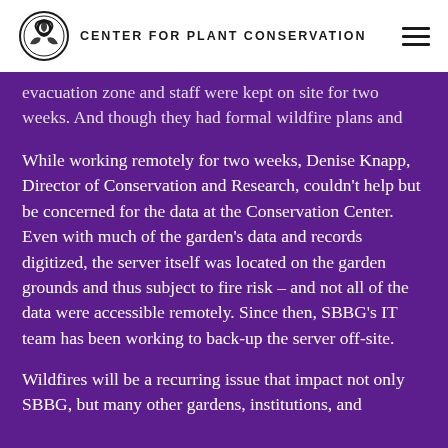CENTER FOR PLANT CONSERVATION
evacuation zone and staff were kept on site for two weeks. And though they had formal wildfire plans and backup power, there was still plenty to worry about.
While working remotely for two weeks, Denise Knapp, Director of Conservation and Research, couldn't help but be concerned for the data at the Conservation Center. Even with much of the garden's data and records digitized, the server itself was located on the garden grounds and thus subject to fire risk – and not all of the data were accessible remotely. Since then, SBBG's IT team has been working to back-up the server off-site.
Wildfires will be a recurring issue that impact not only SBBG, but many other gardens, institutions, and